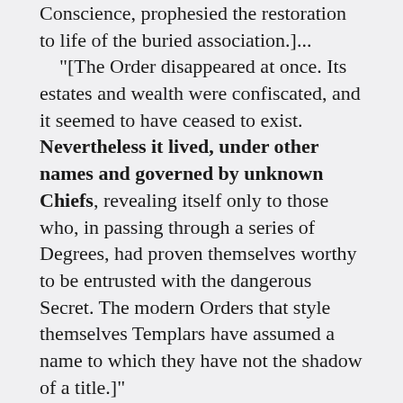Conscience, prophesied the restoration to life of the buried association.]...
    "[The Order disappeared at once. Its estates and wealth were confiscated, and it seemed to have ceased to exist. Nevertheless it lived, under other names and governed by unknown Chiefs, revealing itself only to those who, in passing through a series of Degrees, had proven themselves worthy to be entrusted with the dangerous Secret. The modern Orders that style themselves Templars have assumed a name to which they have not the shadow of a title.]"
(Morals & Dogma, pp